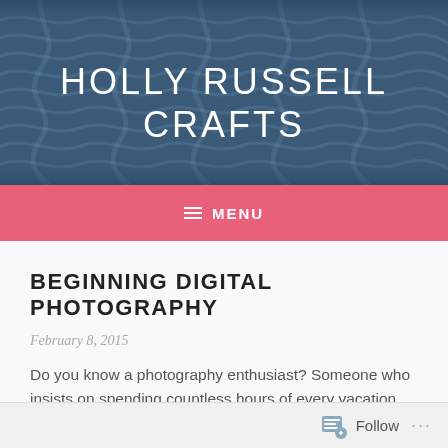[Figure (photo): Website header banner with blue knit/cable wool texture background and site title 'HOLLY RUSSELL CRAFTS' in white uppercase letters]
HOLLY RUSSELL CRAFTS
≡ MENU
BEGINNING DIGITAL PHOTOGRAPHY
February 8, 2015
Do you know a photography enthusiast? Someone who insists on spending countless hours of every vacation